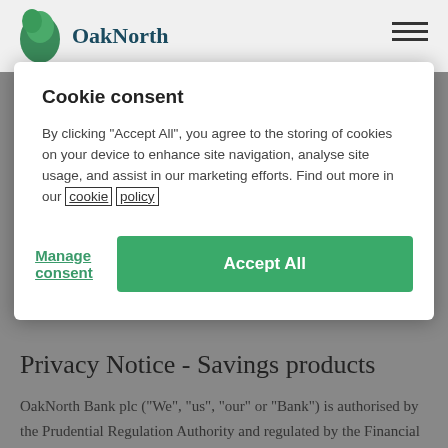[Figure (logo): OakNorth Bank logo with green leaf icon and 'OakNorth' text, plus hamburger menu icon on the right]
Cookie consent
By clicking “Accept All”, you agree to the storing of cookies on your device to enhance site navigation, analyse site usage, and assist in our marketing efforts. Find out more in our cookie policy
Manage consent
Accept All
Privacy Notice - Savings products
OakNorth Bank plc (“We”, “us”, “our” or “Bank”) is authorised by the Prudential Regulation Authority and regulated by the Financial Conduct Authority and the Prudential Regulation Authority (Financial Services Register No. 629564). Registered in England No. 08595042. Registered